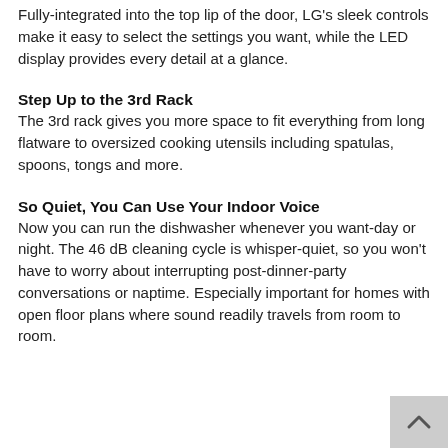Fully-integrated into the top lip of the door, LG's sleek controls make it easy to select the settings you want, while the LED display provides every detail at a glance.
Step Up to the 3rd Rack
The 3rd rack gives you more space to fit everything from long flatware to oversized cooking utensils including spatulas, spoons, tongs and more.
So Quiet, You Can Use Your Indoor Voice
Now you can run the dishwasher whenever you want-day or night. The 46 dB cleaning cycle is whisper-quiet, so you won't have to worry about interrupting post-dinner-party conversations or naptime. Especially important for homes with open floor plans where sound readily travels from room to room.